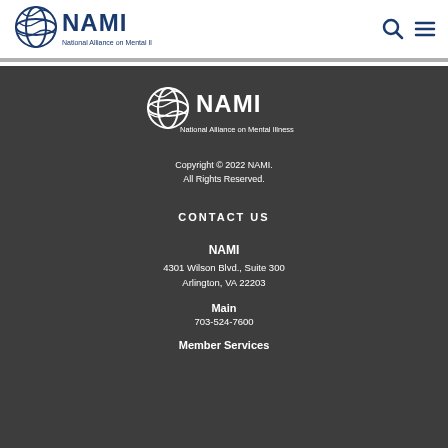[Figure (logo): NAMI logo with globe icon and text 'National Alliance on Mental Illness' in header]
[Figure (logo): NAMI logo white version with text 'National Alliance on Mental Illness' in footer]
Copyright © 2022 NAMI.
All Rights Reserved.
CONTACT US
NAMI
4301 Wilson Blvd., Suite 300
Arlington, VA 22203
Main
703-524-7600
Member Services